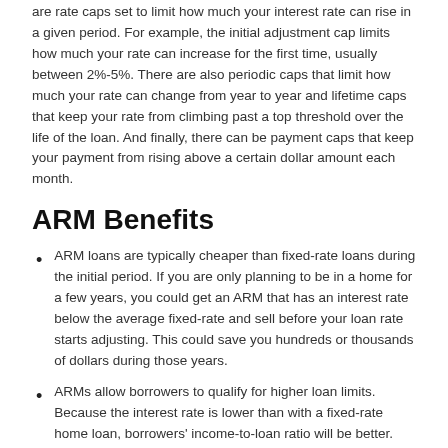are rate caps set to limit how much your interest rate can rise in a given period. For example, the initial adjustment cap limits how much your rate can increase for the first time, usually between 2%-5%. There are also periodic caps that limit how much your rate can change from year to year and lifetime caps that keep your rate from climbing past a top threshold over the life of the loan. And finally, there can be payment caps that keep your payment from rising above a certain dollar amount each month.
ARM Benefits
ARM loans are typically cheaper than fixed-rate loans during the initial period. If you are only planning to be in a home for a few years, you could get an ARM that has an interest rate below the average fixed-rate and sell before your loan rate starts adjusting. This could save you hundreds or thousands of dollars during those years.
ARMs allow borrowers to qualify for higher loan limits. Because the interest rate is lower than with a fixed-rate home loan, borrowers' income-to-loan ratio will be better. This can be especially helpful to first-time buyers.